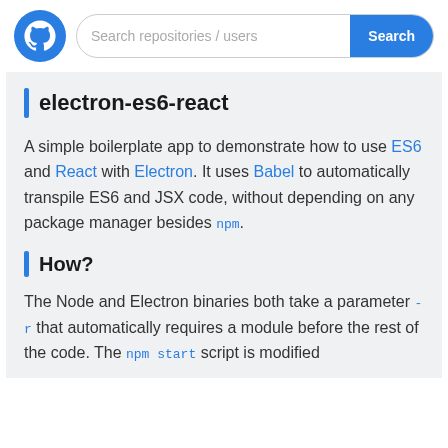[Figure (logo): GitHub logo — white cat silhouette on blue circle]
Search repositories / users
electron-es6-react
A simple boilerplate app to demonstrate how to use ES6 and React with Electron. It uses Babel to automatically transpile ES6 and JSX code, without depending on any package manager besides npm.
How?
The Node and Electron binaries both take a parameter -r that automatically requires a module before the rest of the code. The npm start script is modified